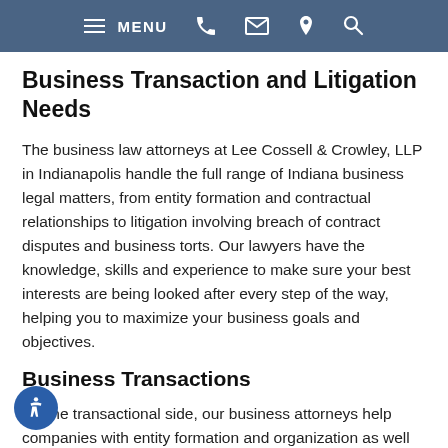MENU
Business Transaction and Litigation Needs
The business law attorneys at Lee Cossell & Crowley, LLP in Indianapolis handle the full range of Indiana business legal matters, from entity formation and contractual relationships to litigation involving breach of contract disputes and business torts. Our lawyers have the knowledge, skills and experience to make sure your best interests are being looked after every step of the way, helping you to maximize your business goals and objectives.
Business Transactions
On the transactional side, our business attorneys help companies with entity formation and organization as well as contract drafting and negotiation, from employment and vendor agreements to major commercial transactions.